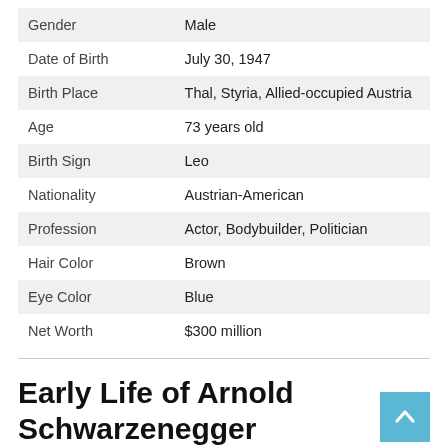|  |  |
| --- | --- |
| Gender | Male |
| Date of Birth | July 30, 1947 |
| Birth Place | Thal, Styria, Allied-occupied Austria |
| Age | 73 years old |
| Birth Sign | Leo |
| Nationality | Austrian-American |
| Profession | Actor, Bodybuilder, Politician |
| Hair Color | Brown |
| Eye Color | Blue |
| Net Worth | $300 million |
Early Life of Arnold Schwarzenegger